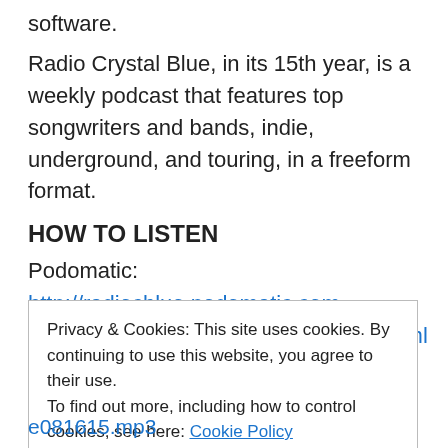software.
Radio Crystal Blue, in its 15th year, is a weekly podcast that features top songwriters and bands, indie, underground, and touring, in a freeform format.
HOW TO LISTEN
Podomatic:
http://radiocblue.podomatic.com
http://radiocblue.podomatic.com/rss2.xml
Internet Archive:
Privacy & Cookies: This site uses cookies. By continuing to use this website, you agree to their use. To find out more, including how to control cookies, see here: Cookie Policy
Close and accept
e081615.mp3